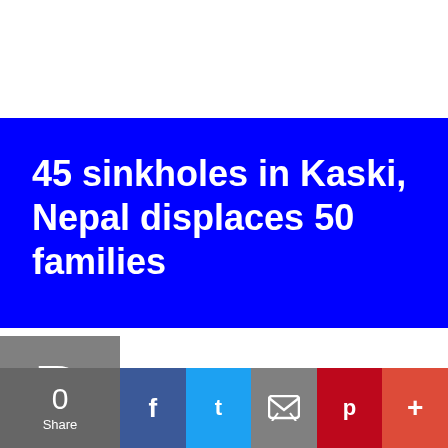45 sinkholes in Kaski, Nepal displaces 50 families
By Disaster Report · November 29, 2013
t least 45 sinkholes have been reported in Armala in